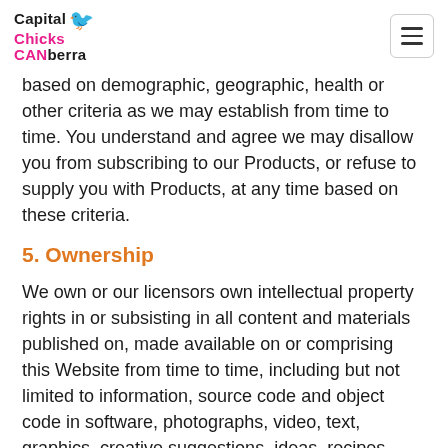Capital Chicks CANberra
based on demographic, geographic, health or other criteria as we may establish from time to time. You understand and agree we may disallow you from subscribing to our Products, or refuse to supply you with Products, at any time based on these criteria.
5. Ownership
We own or our licensors own intellectual property rights in or subsisting in all content and materials published on, made available on or comprising this Website from time to time, including but not limited to information, source code and object code in software, photographs, video, text, graphics, creative suggestions, ideas, recipes, notes, drawings, articles, audio, images and other materials ("Content").
You may not distribute, reproduce, modify, publish,